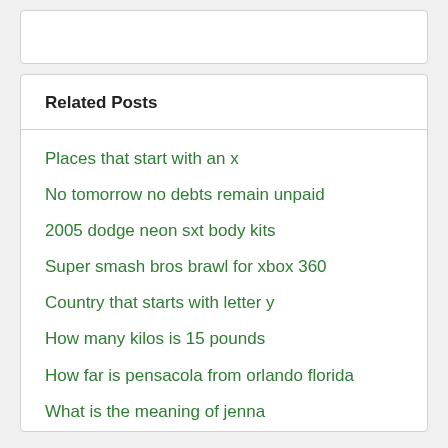Related Posts
Places that start with an x
No tomorrow no debts remain unpaid
2005 dodge neon sxt body kits
Super smash bros brawl for xbox 360
Country that starts with letter y
How many kilos is 15 pounds
How far is pensacola from orlando florida
What is the meaning of jenna